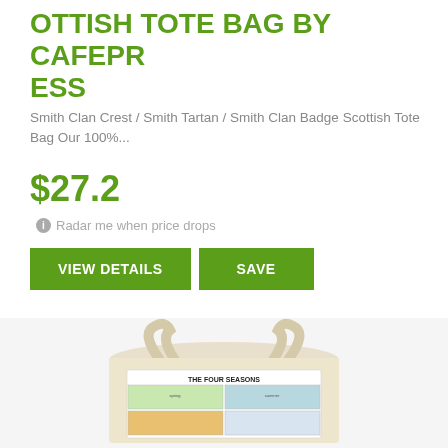OTTISH TOTE BAG BY CAFEPRESS
Smith Clan Crest / Smith Tartan / Smith Clan Badge Scottish Tote Bag Our 100%...
$27.2
ℹ Radar me when price drops
VIEW DETAILS   SAVE
[Figure (photo): Photo of a cream-colored canvas tote bag with 'THE FOUR SEASONS' text and four illustrated panels showing cows in different seasons (spring, summer, autumn, winter)]